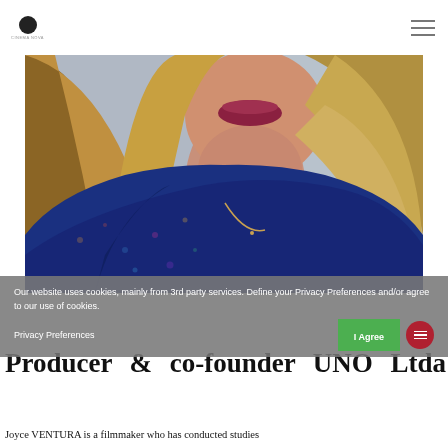[Logo] [Hamburger menu]
[Figure (photo): Close-up portrait photo of a woman with blonde/auburn hair, dark red lipstick, wearing a colorful patterned jacket. Background is a grey wall.]
Our website uses cookies, mainly from 3rd party services. Define your Privacy Preferences and/or agree to our use of cookies.
Privacy Preferences
I Agree
Producer & co-founder UNO Ltda
Joyce VENTURA is a filmmaker who has conducted studies